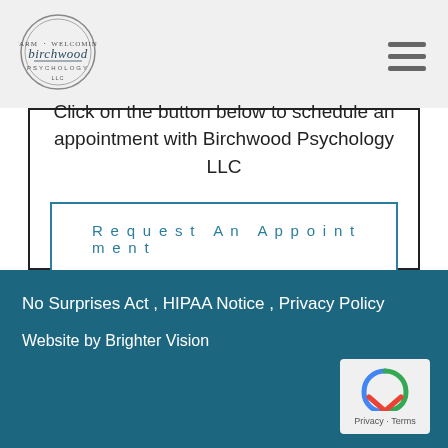[Figure (logo): Birchwood Psychology circular logo with script text]
[Figure (other): Hamburger menu icon (three horizontal lines)]
Click on the button below to schedule an appointment with Birchwood Psychology LLC
Request An Appointment
No Surprises Act , HIPAA Notice , Privacy Policy
Website by Brighter Vision
[Figure (other): Google reCAPTCHA badge with Privacy - Terms text]